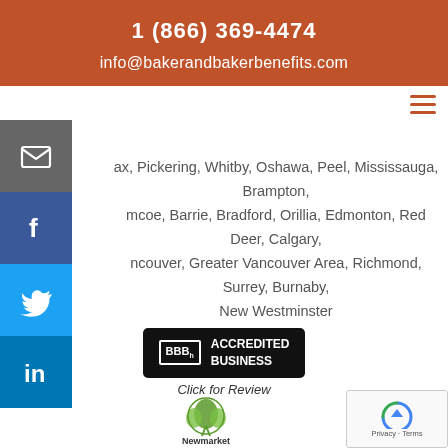1 (866) 369-4474
info@bakerandbakerbenefits.com
ax, Pickering, Whitby, Oshawa, Peel, Mississauga, Brampton, mcoe, Barrie, Bradford, Orillia, Edmonton, Red Deer, Calgary, ncouver, Greater Vancouver Area, Richmond, Surrey, Burnaby, New Westminster
[Figure (logo): BBB Accredited Business badge with 'Click for Review' text below]
[Figure (logo): Newmarket Chamber of Commerce logo]
[Figure (other): reCAPTCHA Privacy Terms badge]